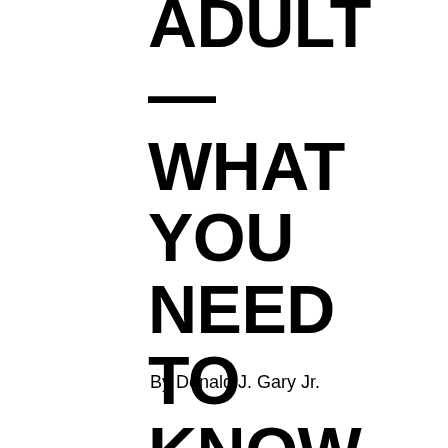ADULT — WHAT YOU NEED TO KNOW WHEN A MEDICAL CRISIS HITS
By Donald J. Gary Jr.